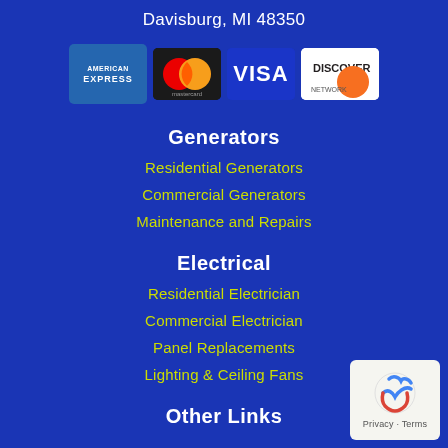Davisburg, MI 48350
[Figure (logo): Four payment card logos: American Express, Mastercard, Visa, Discover]
Generators
Residential Generators
Commercial Generators
Maintenance and Repairs
Electrical
Residential Electrician
Commercial Electrician
Panel Replacements
Lighting & Ceiling Fans
Other Links
[Figure (logo): reCAPTCHA Privacy - Terms badge in bottom right corner]